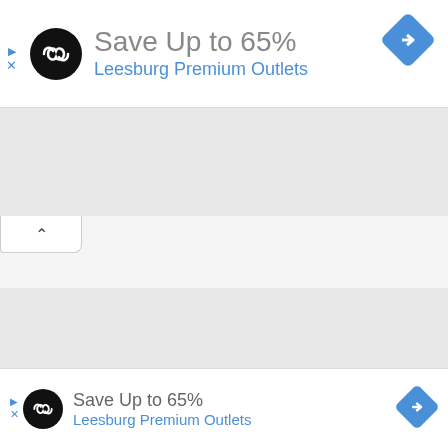[Figure (screenshot): Top advertisement banner showing a black circle logo with infinity-like symbol, text 'Save Up to 65%' in gray and 'Leesburg Premium Outlets' in blue (partially visible), blue diamond navigation icon top right, blue play/close controls top left]
[Figure (screenshot): Collapsed panel tab with upward chevron arrow below the top ad bar]
[Figure (screenshot): White/light gray map area (blank map content)]
[Figure (screenshot): Bottom advertisement strip showing black circle logo, 'Save Up to 65%' in gray, 'Leesburg Premium Outlets' in blue, blue diamond navigation icon on right, blue play/close controls on left]